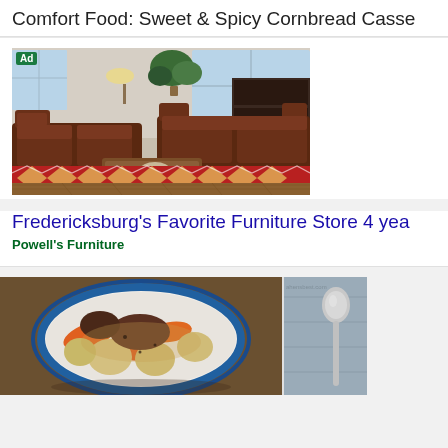Comfort Food: Sweet & Spicy Cornbread Casse
[Figure (photo): Advertisement photo of a furniture store showroom with dark brown leather recliner sofas arranged on a red patterned area rug, with plants and windows in the background. An 'Ad' badge in green is shown in the top-left corner.]
Fredericksburg's Favorite Furniture Store 4 yea
Powell's Furniture
[Figure (photo): Two food-related images side by side at the bottom: left shows a bowl of stew with carrots, potatoes, and meat with a blue-rimmed plate; right shows a spoon on a grey background with 'ahensbest.com' watermark.]